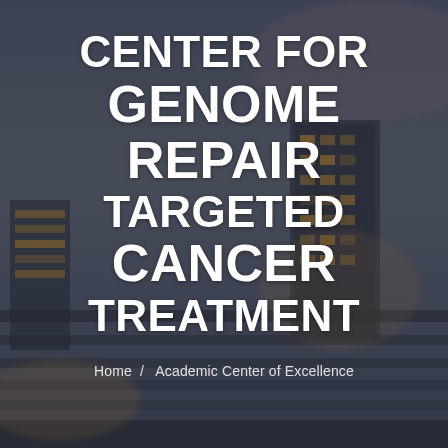[Figure (photo): Dark blurred cityscape/building background with blue-grey tone and warm building light accents]
CENTER FOR GENOME REPAIR TARGETED CANCER TREATMENT
Home / Academic Center of Excellence